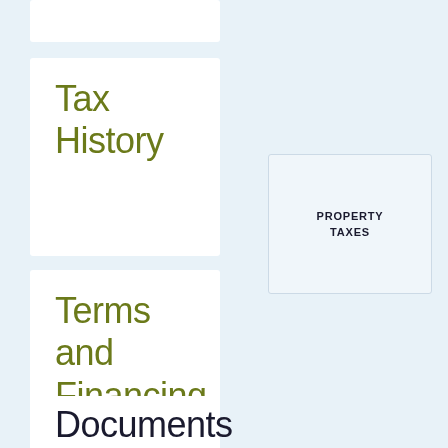Tax History
PROPERTY TAXES
Terms and Financing
Documents